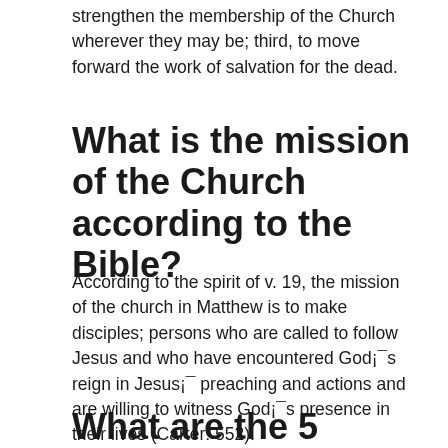strengthen the membership of the Church wherever they may be; third, to move forward the work of salvation for the dead.
What is the mission of the Church according to the Bible?
According to the spirit of v. 19, the mission of the church in Matthew is to make disciples; persons who are called to follow Jesus and who have encountered God¡¯s reign in Jesus¡¯ preaching and actions and are willing to witness God¡¯s presence in their lives (Carter: 552).
What are the 5 purposes of